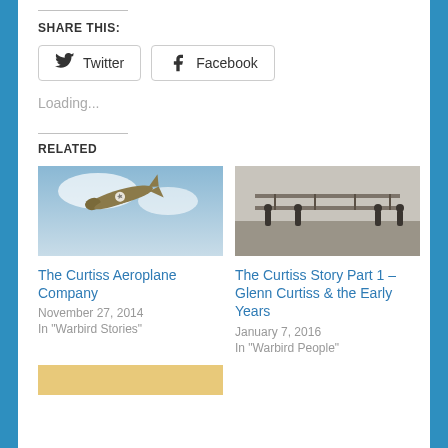SHARE THIS:
[Figure (other): Twitter share button]
[Figure (other): Facebook share button]
Loading...
RELATED
[Figure (photo): Photo of a WWII-era Curtiss P-40 fighter aircraft in flight against a cloudy sky]
The Curtiss Aeroplane Company
November 27, 2014
In "Warbird Stories"
[Figure (photo): Black and white historical photo of men holding a large early biplane/glider on the ground]
The Curtiss Story Part 1 – Glenn Curtiss & the Early Years
January 7, 2016
In "Warbird People"